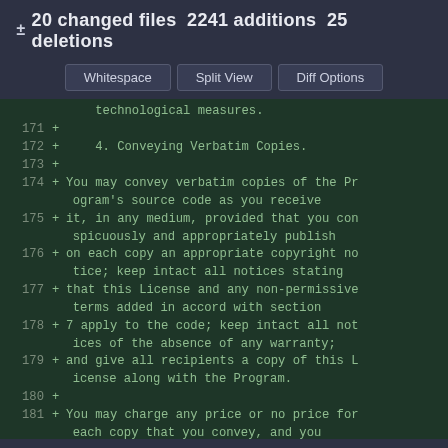± 20 changed files 2241 additions 25 deletions
Whitespace  Split View  Diff Options
171 +
172 +    4. Conveying Verbatim Copies.
173 +
174 + You may convey verbatim copies of the Program's source code as you receive
175 + it, in any medium, provided that you conspicuously and appropriately publish
176 + on each copy an appropriate copyright notice; keep intact all notices stating
177 + that this License and any non-permissive terms added in accord with section
178 + 7 apply to the code; keep intact all notices of the absence of any warranty;
179 + and give all recipients a copy of this License along with the Program.
180 +
181 + You may charge any price or no price for each copy that you convey, and you